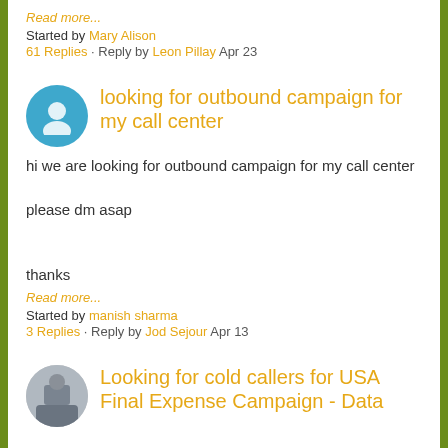Read more...
Started by Mary Alison
61 Replies · Reply by Leon Pillay Apr 23
looking for outbound campaign for my call center
hi we are looking for outbound campaign for my call center

please dm asap


thanks
Read more...
Started by manish sharma
3 Replies · Reply by Jod Sejour Apr 13
Looking for cold callers for USA Final Expense Campaign - Data